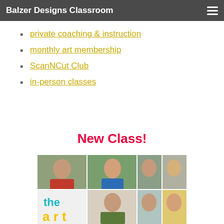Balzer Designs Classroom
private coaching & instruction
monthly art membership
ScanNCut Club
in-person classes
New Class!
[Figure (photo): Collage of six women's headshots arranged in a grid, two rows of three, with a partial 'the art...' logo/text in the bottom-left tile using teal and yellow lettering.]